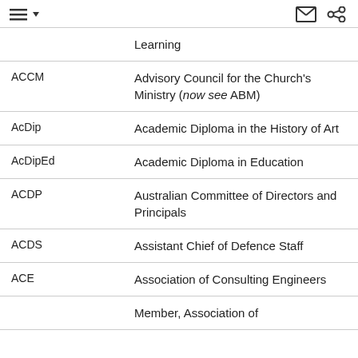Navigation menu and share icons
| Abbreviation | Full Form |
| --- | --- |
|  | Learning |
| ACCM | Advisory Council for the Church's Ministry (now see ABM) |
| AcDip | Academic Diploma in the History of Art |
| AcDipEd | Academic Diploma in Education |
| ACDP | Australian Committee of Directors and Principals |
| ACDS | Assistant Chief of Defence Staff |
| ACE | Association of Consulting Engineers |
|  | Member, Association of |